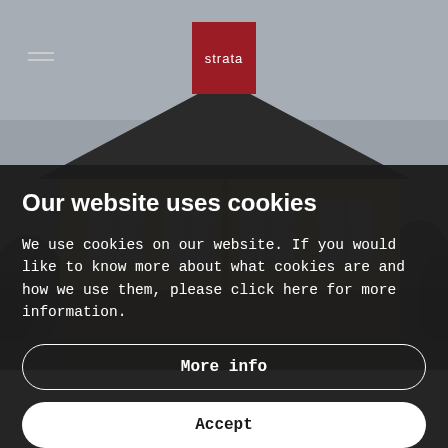[Figure (photo): Background photo of a two-storey brick house with dark roof, grey sky, and trees. A red Strata logo badge is visible at the top center. A hamburger menu icon is at the top left.]
Our website uses cookies
We use cookies on our website. If you would like to know more about what cookies are and how we use them, please click here for more information.
More info
Accept